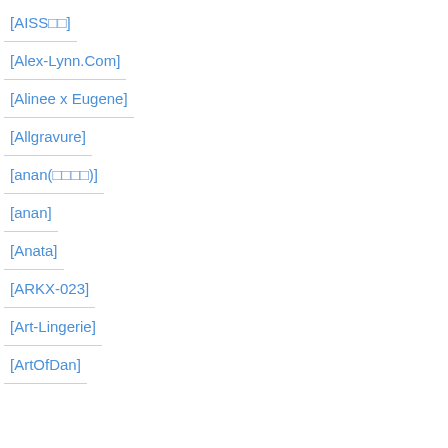[AISS□□]
[Alex-Lynn.Com]
[Alinee x Eugene]
[Allgravure]
[anan(□□□□)]
[anan]
[Anata]
[ARKX-023]
[Art-Lingerie]
[ArtOfDan]